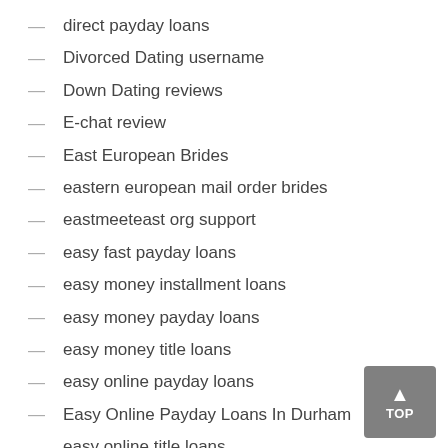direct payday loans
Divorced Dating username
Down Dating reviews
E-chat review
East European Brides
eastern european mail order brides
eastmeeteast org support
easy fast payday loans
easy money installment loans
easy money payday loans
easy money title loans
easy online payday loans
Easy Online Payday Loans In Durham
easy online title loans